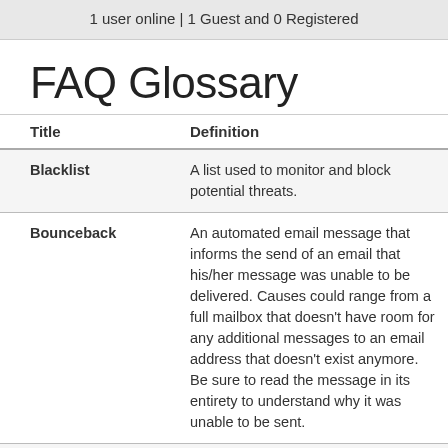1 user online | 1 Guest and 0 Registered
FAQ Glossary
| Title | Definition |
| --- | --- |
| Blacklist | A list used to monitor and block potential threats. |
| Bounceback | An automated email message that informs the send of an email that his/her message was unable to be delivered. Causes could range from a full mailbox that doesn't have room for any additional messages to an email address that doesn't exist anymore. Be sure to read the message in its entirety to understand why it was unable to be sent. |
| Credentials | In the context of networking, credentials |